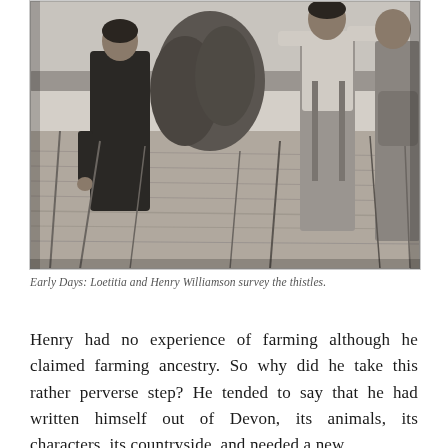[Figure (photo): Black and white photograph showing two people, Loetitia and Henry Williamson, standing in a field with thistles and crops. The man on the right wears overalls, the woman on the left wears a dark dress. A hay sheaf is visible in the background.]
Early Days: Loetitia and Henry Williamson survey the thistles.
Henry had no experience of farming although he claimed farming ancestry. So why did he take this rather perverse step? He tended to say that he had written himself out of Devon, its animals, its characters, its countryside, and needed a new